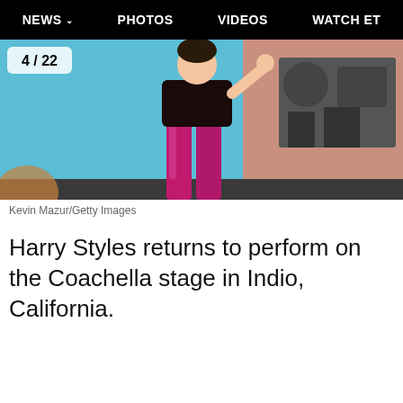NEWS  PHOTOS  VIDEOS  WATCH ET
[Figure (photo): Harry Styles performing on the Coachella stage, wearing shiny pink/magenta pants, with a blue stage backdrop and band equipment visible in the background. A counter badge showing '4 / 22' is overlaid in the top-left corner.]
Kevin Mazur/Getty Images
Harry Styles returns to perform on the Coachella stage in Indio, California.